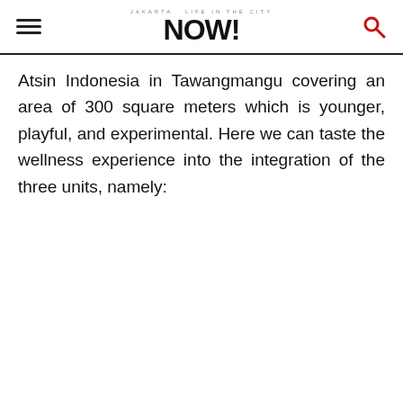Jakarta NOW!
Atsin Indonesia in Tawangmangu covering an area of 300 square meters which is younger, playful, and experimental. Here we can taste the wellness experience into the integration of the three units, namely: